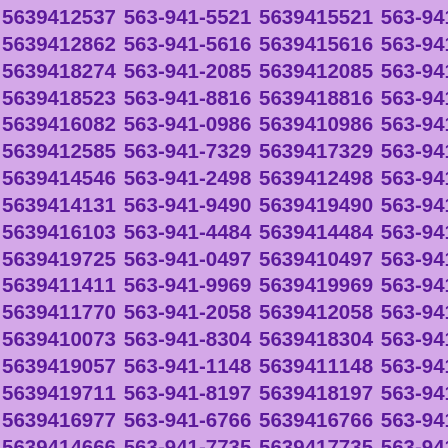5639412537 563-941-5521 5639415521 563-941-2862 5639412862 563-941-5616 5639415616 563-941-8274 5639418274 563-941-2085 5639412085 563-941-8523 5639418523 563-941-8816 5639418816 563-941-6082 5639416082 563-941-0986 5639410986 563-941-2585 5639412585 563-941-7329 5639417329 563-941-4546 5639414546 563-941-2498 5639412498 563-941-4131 5639414131 563-941-9490 5639419490 563-941-6103 5639416103 563-941-4484 5639414484 563-941-9725 5639419725 563-941-0497 5639410497 563-941-1411 5639411411 563-941-9969 5639419969 563-941-1770 5639411770 563-941-2058 5639412058 563-941-0073 5639410073 563-941-8304 5639418304 563-941-9057 5639419057 563-941-1148 5639411148 563-941-9711 5639419711 563-941-8197 5639418197 563-941-6977 5639416977 563-941-6766 5639416766 563-941-4666 5639414666 563-941-7735 5639417735 563-941-4826 5639414826 563-941-1084 5639411084 563-941-9502 5639419502 563-941-3200 5639413200 563-941-5702 5639415702 563-941-2354 5639412354 563-941-6243 5639416243 563-941-5082 5639415082 563-941-6181